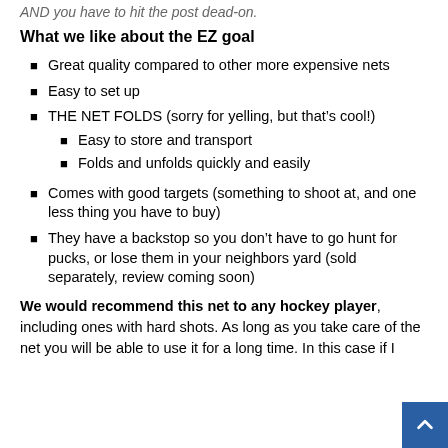AND you have to hit the post dead on.
What we like about the EZ goal
Great quality compared to other more expensive nets
Easy to set up
THE NET FOLDS (sorry for yelling, but that's cool!)
Easy to store and transport
Folds and unfolds quickly and easily
Comes with good targets (something to shoot at, and one less thing you have to buy)
They have a backstop so you don't have to go hunt for pucks, or lose them in your neighbors yard (sold separately, review coming soon)
We would recommend this net to any hockey player, including ones with hard shots. As long as you take care of the net you will be able to use it for a long time. In this case if I